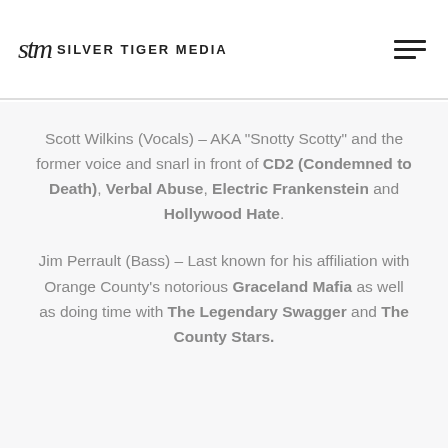Silver Tiger Media
Scott Wilkins (Vocals) – AKA "Snotty Scotty" and the former voice and snarl in front of CD2 (Condemned to Death), Verbal Abuse, Electric Frankenstein and Hollywood Hate.
Jim Perrault (Bass) – Last known for his affiliation with Orange County's notorious Graceland Mafia as well as doing time with The Legendary Swagger and The County Stars.